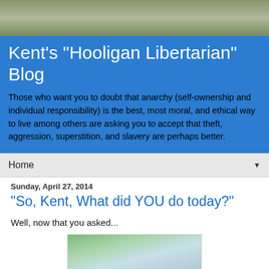[Figure (photo): Outdoor nature/tree background photo used as page header background]
Kent's "Hooligan Libertarian" Blog
Those who want you to doubt that anarchy (self-ownership and individual responsibility) is the best, most moral, and ethical way to live among others are asking you to accept that theft, aggression, superstition, and slavery are perhaps better.
Home ▼
Sunday, April 27, 2014
"So, Kent, What did YOU do today?"
Well, now that you asked...
[Figure (photo): Outdoor photo (trees and sky) embedded in blog post]